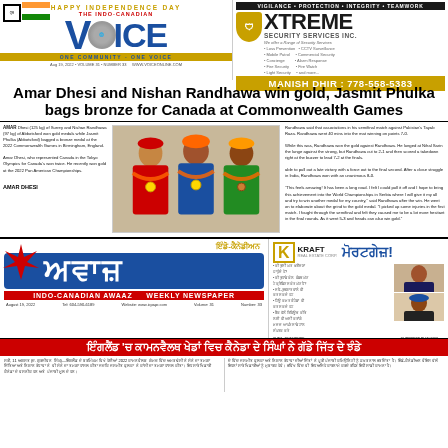[Figure (logo): The Indo-Canadian Voice newspaper masthead with logo, HAPPY INDEPENDENCE DAY banner, and ONE COMMUNITY - ONE VOICE tagline]
[Figure (infographic): Xtreme Security Services Inc. advertisement with shield logo, contact details, and MANISH DHIR phone number 778-558-5383]
Amar Dhesi and Nishan Randhawa win gold, Jasmit Phulka bags bronze for Canada at Commonwealth Games
AMAR Dhesi (125 kg) of Surrey and Nishan Randhawa (97 kg) of Abbotsford won gold medals while Jasmit Phulka (Abbotsford) bagged a bronze medal at the 2022 Commonwealth Games in Birmingham, England. Amar Dhesi, who represented Canada in the Tokyo Olympics for Canadian won twice. He recently won gold at the 2022 Pan American Championships. AMAR DHESI
[Figure (photo): Three men wearing traditional turbans and orange flower garlands displaying gold medals at Commonwealth Games]
Randhawa said that associative in his semifinal match against Pakistan's Tayab Raza. Randhawa went 40 mins into the mat winning on points 7-0. While this was, Randhawa won the gold against Randhawa. He lunged at Nihal Sarin the lunge against the strong, but Randhawa cut to 2-1 and then scored a takedown right at the buzzer to lead 7-2 at the finals. able to pull out a late victory with a force out to the final second. After a close struggle in India, Randhawa won with an unanimous 8-0.
[Figure (logo): Indo-Canadian Awaaz Weekly Newspaper logo with Punjabi text in blue and red]
[Figure (infographic): Mortgage advertisement from Kraft featuring SUNIL CHAUDHRY 604-727-1579 and GURPREET DHALIWAL 604-725-0134]
ਇੰਗਲੈਂਡ 'ਚ ਕਾਮਨਵੈਲਥ ਖੇਡਾਂ ਵਿਚ ਕੈਨੇਡਾ ਦੇ ਸਿੰਘਾਂ ਨੇ ਗੱਡੇ ਜਿੱਤ ਦੇ ਝੰਡੇ
ਸਰੀ, 11 ਅਗਸਤ (ਦ. ਗੁਰਜੀਵਨ ਸਿੰਘ)—ਇੰਗਲੈਂਡ ਦੇ ਬਰਮਿੰਘਮ ਵਿਖੇ ਹੋਈਆਂ 2022 ਕਾਮਨਵੈਲਥ ਗੇਮਜ਼ ਵਿੱਚ ਅਮਰ ਢੇਸੀ ਨੇ ਸੋਨੇ ਦਾ ਤਮਗ਼ਾ ਜਿੱਤਿਆ ਅਤੇ ਨਿਸ਼ਾਨ ਰੰਧਾਵਾ ਨੇ ਵੀ ਸੋਨੇ ਦਾ ਤਮਗ਼ਾ ਹਾਸਲ ਕੀਤਾ